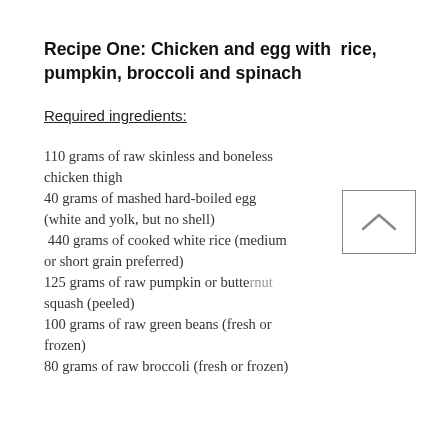Recipe One: Chicken and egg with rice, pumpkin, broccoli and spinach
Required ingredients:
110 grams of raw skinless and boneless chicken thigh
40 grams of mashed hard-boiled egg (white and yolk, but no shell)
440 grams of cooked white rice (medium or short grain preferred)
125 grams of raw pumpkin or butternut squash (peeled)
100 grams of raw green beans (fresh or frozen)
80 grams of raw broccoli (fresh or frozen)